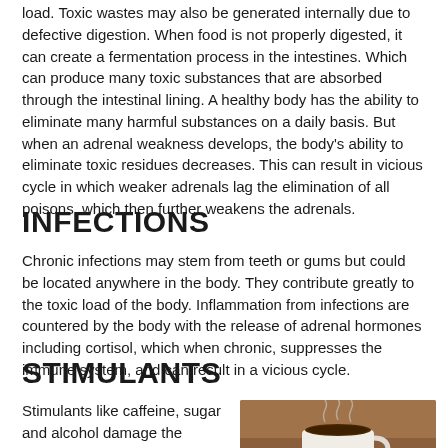load. Toxic wastes may also be generated internally due to defective digestion. When food is not properly digested, it can create a fermentation process in the intestines. Which can produce many toxic substances that are absorbed through the intestinal lining. A healthy body has the ability to eliminate many harmful substances on a daily basis. But when an adrenal weakness develops, the body's ability to eliminate toxic residues decreases. This can result in vicious cycle in which weaker adrenals lag the elimination of all poisons, which then further weakens the adrenals.
INFECTIONS
Chronic infections may stem from teeth or gums but could be located anywhere in the body. They contribute greatly to the toxic load of the body. Inflammation from infections are countered by the body with the release of adrenal hormones including cortisol, which when chronic, suppresses the immune system, and can result in a vicious cycle.
STIMULANTS
Stimulants like caffeine, sugar and alcohol damage the adrenal glands
[Figure (photo): A cup of coffee with steam rising, photographed from above on a warm brown background]